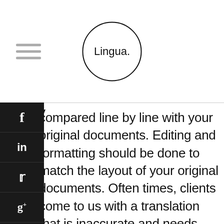Lingua.
compared line by line with your original documents. Editing and formatting should be done to match the layout of your original documents. Often times, clients come to us with a translation that is inaccurate and needs retranslation, ecertification and proper editing. In this case unfortunately a new Apostille needs to be obtained that carried additional cost to the client and time. This can be avoided by making sure that you hire a reliable professional translation agency. Will your document be notarized? Your translated document must be notarized